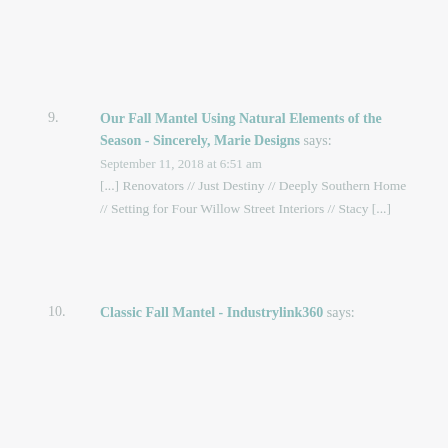9. Our Fall Mantel Using Natural Elements of the Season - Sincerely, Marie Designs says: September 11, 2018 at 6:51 am [...] Renovators // Just Destiny // Deeply Southern Home // Setting for Four Willow Street Interiors // Stacy [...]
10. Classic Fall Mantel - Industrylink360 says: